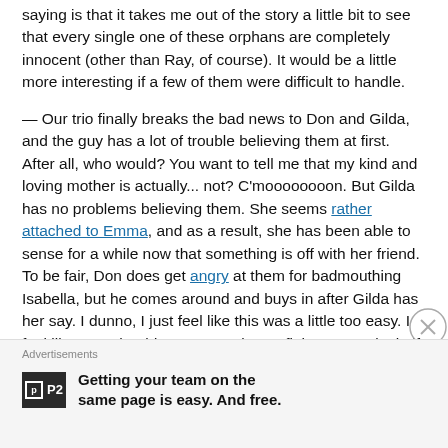saying is that it takes me out of the story a little bit to see that every single one of these orphans are completely innocent (other than Ray, of course). It would be a little more interesting if a few of them were difficult to handle.
— Our trio finally breaks the bad news to Don and Gilda, and the guy has a lot of trouble believing them at first. After all, who would? You want to tell me that my kind and loving mother is actually... not? C'moooooooon. But Gilda has no problems believing them. She seems rather attached to Emma, and as a result, she has been able to sense for a while now that something is off with her friend. To be fair, Don does get angry at them for badmouthing Isabella, but he comes around and buys in after Gilda has her say. I dunno, I just feel like this was a little too easy. I feel like Don should've put up a better fight. 'Cause look, if you have no evidence, I
Advertisements
Getting your team on the same page is easy. And free.